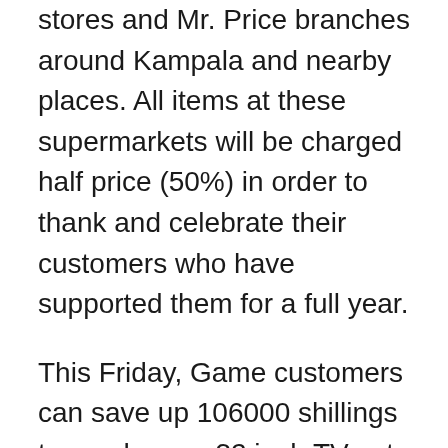stores and Mr. Price branches around Kampala and nearby places. All items at these supermarkets will be charged half price (50%) in order to thank and celebrate their customers who have supported them for a full year.
This Friday, Game customers can save up 106000 shillings to purchase a 32 inch TV set, save 50,000 shillings on buying a brand new laptop, save 1.2 million shillings to buy sofa sets, save 226179 shillings to buy a brand new can printer, save 208000 shillings on purchase of a pair of bikes, save 1252000 shillings on purchase of a new Defy refrigerator and save 13000 shillings on type among several other discounted products at all game branches.